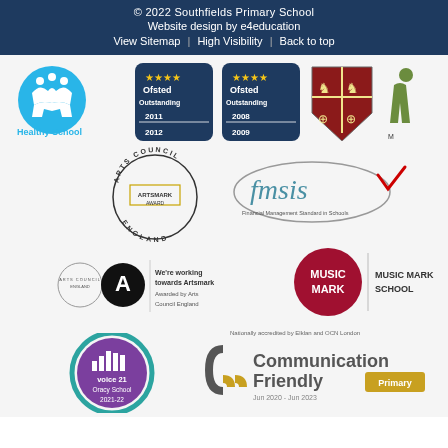© 2022 Southfields Primary School
Website design by e4education
View Sitemap | High Visibility | Back to top
[Figure (logo): Collection of school award logos: Healthy School, Ofsted Outstanding 2011/2012, Ofsted Outstanding 2008/2009, Cambridge University Press shield, green figure icon, Arts Council Artsmark Award England, fmsis Financial Management Standard in Schools, Working towards Artsmark Awarded by Arts Council England, Music Mark School, Voice 21 Oracy School 2021-22, Communication Friendly Primary Jun 2020 - Jun 2023 accredited by Elklan and OCN London]